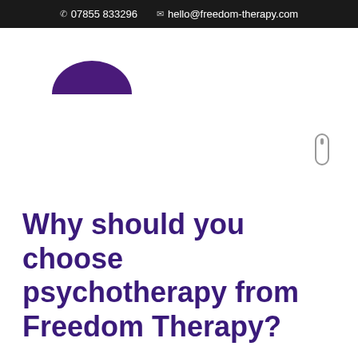07855 833296  hello@freedom-therapy.com
[Figure (logo): Freedom Therapy logo — a purple semicircle (dome shape) representing the brand mark]
[Figure (other): Scroll indicator — a small rounded rectangle outline with inner dot, positioned at right side of page]
Why should you choose psychotherapy from Freedom Therapy?